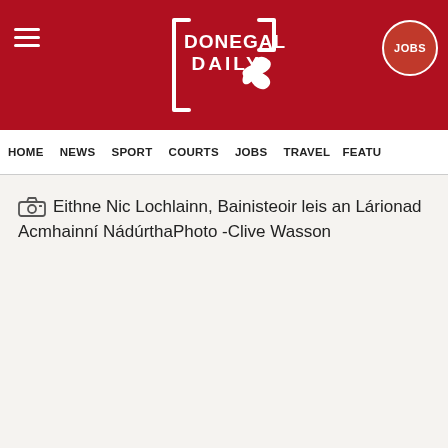Donegal Daily — JOBS
HOME  NEWS  SPORT  COURTS  JOBS  TRAVEL  FEATU
Eithne Nic Lochlainn, Bainisteoir leis an Lárionad Acmhainní NádúrthaPhoto -Clive Wasson